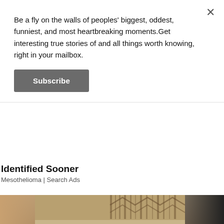Be a fly on the walls of peoples' biggest, oddest, funniest, and most heartbreaking moments.Get interesting true stories of and all things worth knowing, right in your mailbox.
Subscribe
Identified Sooner
Mesothelioma | Search Ads
[Figure (photo): Person holding a Ka'Chava Tribal Superfood branded bag with geometric patterns, shown from waist level against a dark background]